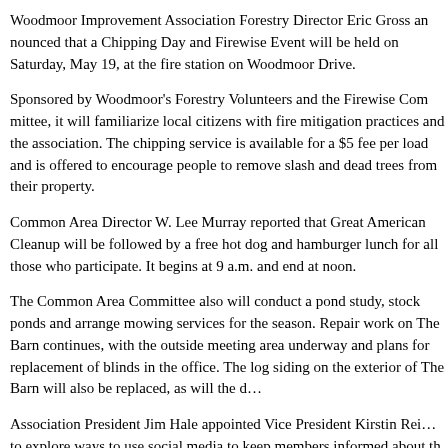Woodmoor Improvement Association Forestry Director Eric Gross announced that a Chipping Day and Firewise Event will be held on Saturday, May 19, at the fire station on Woodmoor Drive.
Sponsored by Woodmoor's Forestry Volunteers and the Firewise Committee, it will familiarize local citizens with fire mitigation practices and the association. The chipping service is available for a $5 fee per load and is offered to encourage people to remove slash and dead trees from their property.
Common Area Director W. Lee Murray reported that Great American Cleanup will be followed by a free hot dog and hamburger lunch for all those who participate. It begins at 9 a.m. and end at noon.
The Common Area Committee also will conduct a pond study, stock ponds and arrange mowing services for the season. Repair work on The Barn continues, with the outside meeting area underway and plans for replacement of blinds in the office. The log siding on the exterior of The Barn will also be replaced, as will the d…
Association President Jim Hale appointed Vice President Kirstin Rei… to explore ways to use social media to keep members informed about th…
Hale also said that he has been receiving emails about the Walters property in Woodmoor, near the high school and townhouses. At one time there was talk of turning it into a wildlife refuge, but there were no written agreements. He asked the association to do some research into the history of the matter.